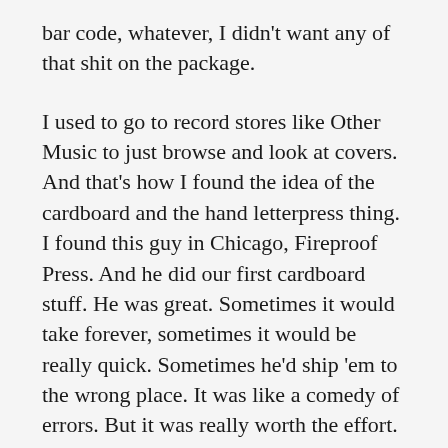bar code, whatever, I didn't want any of that shit on the package.
I used to go to record stores like Other Music to just browse and look at covers. And that's how I found the idea of the cardboard and the hand letterpress thing. I found this guy in Chicago, Fireproof Press. And he did our first cardboard stuff. He was great. Sometimes it would take forever, sometimes it would be really quick. Sometimes he'd ship 'em to the wrong place. It was like a comedy of errors. But it was really worth the effort. And for Steve, too, doing the letterpress was a whole new